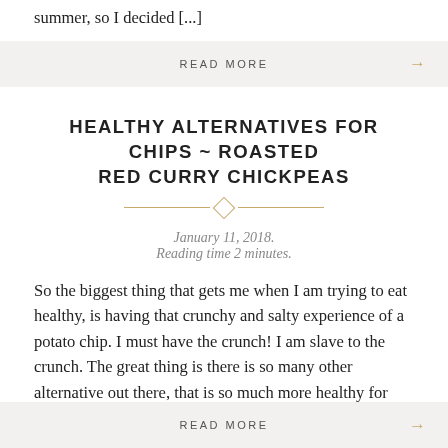summer, so I decided [...]
READ MORE →
HEALTHY ALTERNATIVES FOR CHIPS ~ ROASTED RED CURRY CHICKPEAS
January 11, 2018.
Reading time 2 minutes.
So the biggest thing that gets me when I am trying to eat healthy, is having that crunchy and salty experience of a potato chip. I must have the crunch! I am slave to the crunch. The great thing is there is so many other alternative out there, that is so much more healthy for [...]
READ MORE →